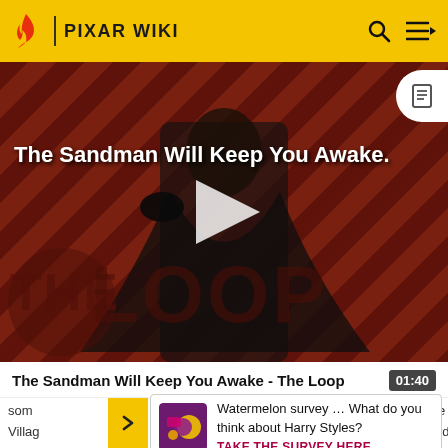PIXAR WIKI
[Figure (screenshot): Video thumbnail for 'The Sandman Will Keep You Awake - The Loop' showing a dark figure in a black cape against a red and black striped background with 'THE LOOP' watermark]
The Sandman Will Keep You Awake - The Loop 01:40
Watermelon survey … What do you think about Harry Styles? TAKE THE SURVEY HERE